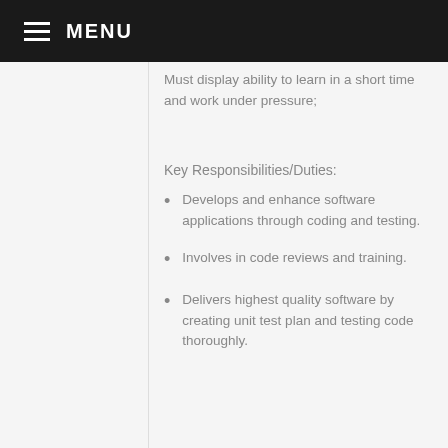MENU
Must display ability to learn in a short time and work under pressure;
Key Responsibilities/Duties:
Develops and enhance software applications through coding and testing.
Involves in code reviews and training.
Delivers highest quality software by creating unit test plan and testing code thoroughly.